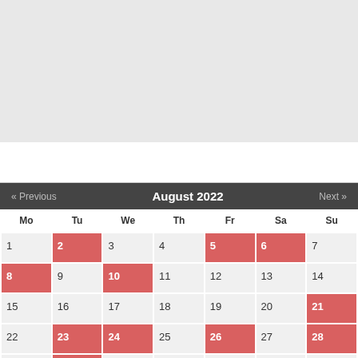[Figure (other): Gray background block at top of page]
| Mo | Tu | We | Th | Fr | Sa | Su |
| --- | --- | --- | --- | --- | --- | --- |
| 1 | 2 | 3 | 4 | 5 | 6 | 7 |
| 8 | 9 | 10 | 11 | 12 | 13 | 14 |
| 15 | 16 | 17 | 18 | 19 | 20 | 21 |
| 22 | 23 | 24 | 25 | 26 | 27 | 28 |
| 29 | 30 | 31 |  |  |  |  |